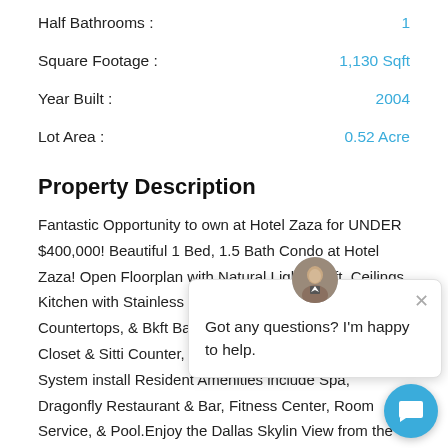Half Bathrooms : 1
Square Footage : 1,130 Sqft
Year Built : 2004
Lot Area : 0.52 Acre
Property Description
Fantastic Opportunity to own at Hotel Zaza for UNDER $400,000! Beautiful 1 Bed, 1.5 Bath Condo at Hotel Zaza! Open Floorplan with Natural Light & 9 ft. Ceilings. Kitchen with Stainless Steel Appliances, Granite Countertops, & Bkft Bar.Master Suite with Large Walk-in Closet & Sitting Area. Spa Bath with Double Vanity Counter, Jetted tub and Sep Shower. Building has a dedicated Film Room. HVAC System install... Resident Amenities include Spa, Dragonfly Restaurant & Bar, Fitness Center, Room Service, & Pool. Enjoy the Dallas Skyline View from the Private Residents' Rooftop Deck with Hot Tub. Fabulous Uptown Location located Blocks from Whole Foods, Klyde Warren Park, Dining and Entertainment...
[Figure (other): Chat widget popup with agent avatar and message 'Got any questions? I'm happy to help.']